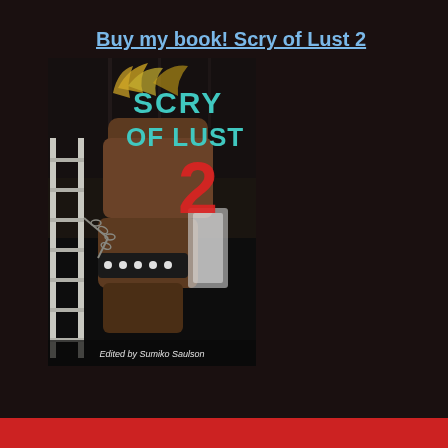Buy my book! Scry of Lust 2
[Figure (illustration): Book cover for 'Scry of Lust 2' edited by Sumiko Saulson. Dark background with a person's arm in a studded bracelet gripping a ladder or railing with chains. Title text 'SCRY OF LUST 2' in teal/blue and red lettering at top. Bottom text reads 'Edited by Sumiko Saulson'.]